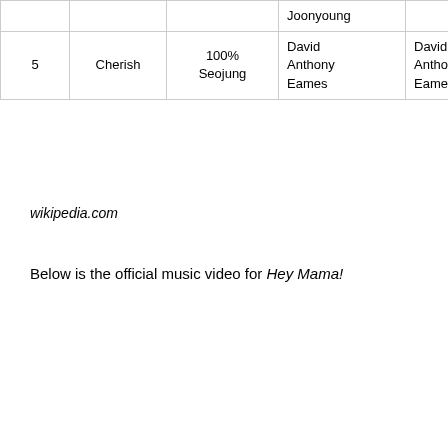| # | Title | Artist | Writer(s) | Producer(s) | Length |
| --- | --- | --- | --- | --- | --- |
|  |  | Joonyoung |  |  |  |
| 5 | Cherish | 100% Seojung | David Anthony Eames | David Anthony Eames | 3:2 |
wikipedia.com
Below is the official music video for Hey Mama!
[Figure (screenshot): YouTube embedded video player showing EXO-CBX (엑소) 'Hey Mama!' MV with SM Entertainment logo. A popup overlay shows 'Which BTS Member Has A Girlfriend?' with a close button and a thumbnail of BTS members. A blue scroll button is visible on the right.]